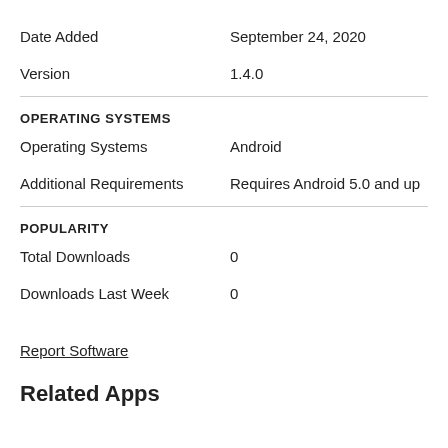Date Added	September 24, 2020
Version	1.4.0
OPERATING SYSTEMS
Operating Systems	Android
Additional Requirements	Requires Android 5.0 and up
POPULARITY
Total Downloads	0
Downloads Last Week	0
Report Software
Related Apps